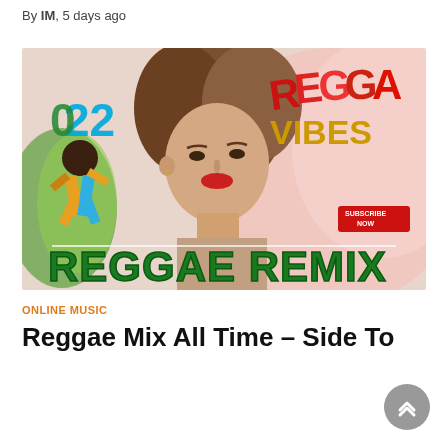By IM, 5 days ago
[Figure (illustration): Reggae Remix 2022 album art thumbnail featuring a young woman with brown hair and red lipstick against a pink fur background. Text overlays read '022', 'REGGAE VIBES', 'SUBSCRIBE NOW', and 'REGGAE REMIX' in large green letters. A dancer in colorful clothing appears on the left side.]
ONLINE MUSIC
Reggae Mix All Time – Side To